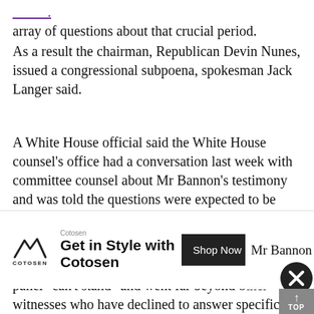array of questions about that crucial period.
As a result the chairman, Republican Devin Nunes, issued a congressional subpoena, spokesman Jack Langer said.
A White House official said the White House counsel's office had a conversation last week with committee counsel about Mr Bannon's testimony and was told the questions were expected to be about the election campaign.
Adam Schiff, the committee's top Democrat, said Mr Bannon's refusal to answer questions from the panel "can't stand" and went far beyond other witnesses who have declined to answer specific questions.
[Figure (other): Cotosen advertisement banner with mountain logo, 'Get in Style with Cotosen' headline and 'Shop Now' button]
Mr Bannon